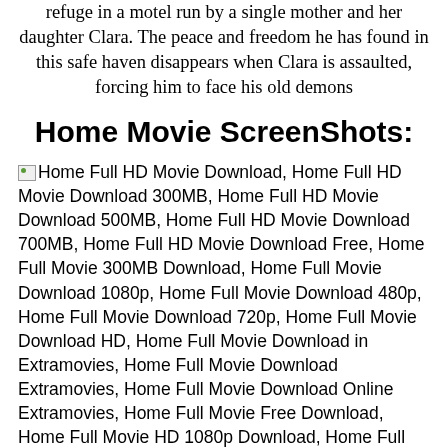refuge in a motel run by a single mother and her daughter Clara. The peace and freedom he has found in this safe haven disappears when Clara is assaulted, forcing him to face his old demons
Home Movie ScreenShots:
Home Full HD Movie Download, Home Full HD Movie Download 300MB, Home Full HD Movie Download 500MB, Home Full HD Movie Download 700MB, Home Full HD Movie Download Free, Home Full Movie 300MB Download, Home Full Movie Download 1080p, Home Full Movie Download 480p, Home Full Movie Download 720p, Home Full Movie Download HD, Home Full Movie Download in Extramovies, Home Full Movie Download Extramovies, Home Full Movie Download Online Extramovies, Home Full Movie Free Download, Home Full Movie HD 1080p Download, Home Full Movie HD 480p Download, Home Full Movie HD 720p Download,